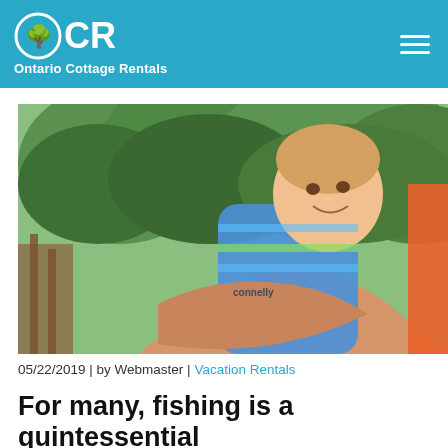OCR Ontario Cottage Rentals
[Figure (photo): A young smiling child in a blue striped life jacket being held by an adult. Green trees in the background near a wooden dock.]
05/22/2019 | by Webmaster | Vacation Rentals
For many, fishing is a quintessential